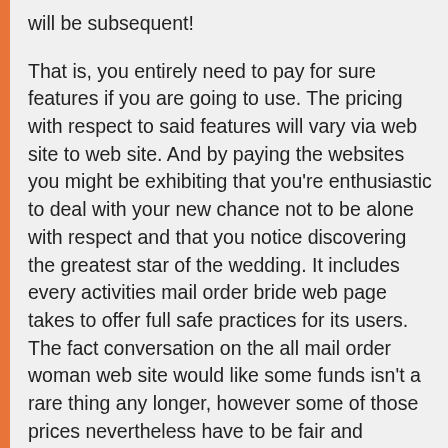will be subsequent! That is, you entirely need to pay for sure features if you are going to use. The pricing with respect to said features will vary via web site to web site. And by paying the websites you might be exhibiting that you're enthusiastic to deal with your new chance not to be alone with respect and that you notice discovering the greatest star of the wedding. It includes every activities mail order bride web page takes to offer full safe practices for its users. The fact conversation on the all mail order woman web site would like some funds isn't a rare thing any longer, however some of those prices nevertheless have to be fair and reasonably listed. The extra facts each ship order new bride provides to her